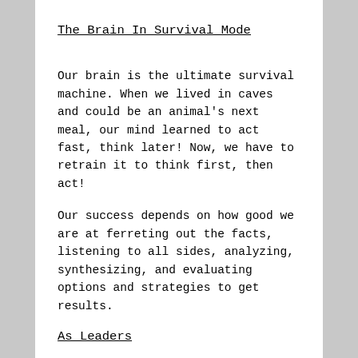The Brain In Survival Mode
Our brain is the ultimate survival machine. When we lived in caves and could be an animal's next meal, our mind learned to act fast, think later! Now, we have to retrain it to think first, then act!
Our success depends on how good we are at ferreting out the facts, listening to all sides, analyzing, synthesizing, and evaluating options and strategies to get results.
As Leaders
All leaders are involved in these critical thinking areas: